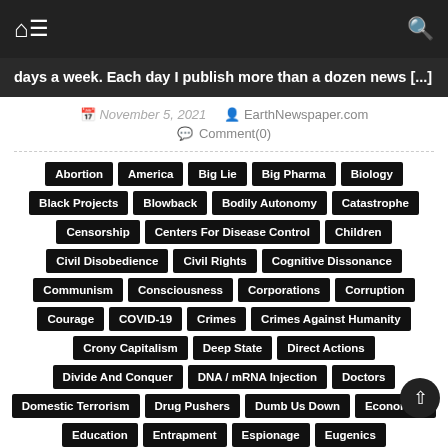Navigation bar with home icon, menu icon, search icon
days a week. Each day I publish more than a dozen news [...]
November 5, 2021   EarthNewspaper.com   Comment(0)
Abortion
America
Big Lie
Big Pharma
Biology
Black Projects
Blowback
Bodily Autonomy
Catastrophe
Censorship
Centers For Disease Control
Children
Civil Disobedience
Civil Rights
Cognitive Dissonance
Communism
Consciousness
Corporations
Corruption
Courage
COVID-19
Crimes
Crimes Against Humanity
Crony Capitalism
Deep State
Direct Actions
Divide And Conquer
DNA / mRNA Injection
Doctors
Domestic Terrorism
Drug Pushers
Dumb Us Down
Economics
Education
Entrapment
Espionage
Eugenics